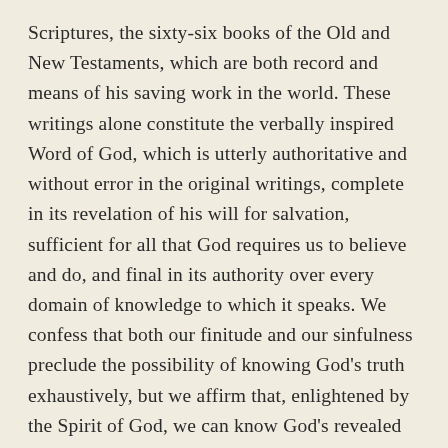Scriptures, the sixty-six books of the Old and New Testaments, which are both record and means of his saving work in the world. These writings alone constitute the verbally inspired Word of God, which is utterly authoritative and without error in the original writings, complete in its revelation of his will for salvation, sufficient for all that God requires us to believe and do, and final in its authority over every domain of knowledge to which it speaks. We confess that both our finitude and our sinfulness preclude the possibility of knowing God's truth exhaustively, but we affirm that, enlightened by the Spirit of God, we can know God's revealed truth truly. The Bible is to be believed, as God's instruction, in all that it teaches; obeyed, as God's command, in all that it requires; and trusted, as God's pledge, in all that it promises. As God's people hear, believe, and do the Word, they are equipped as disciples of Christ and witnesses to